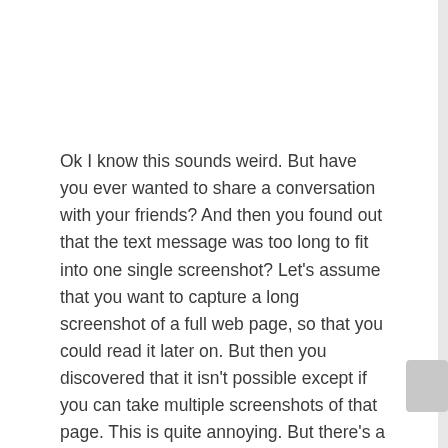Ok I know this sounds weird. But have you ever wanted to share a conversation with your friends? And then you found out that the text message was too long to fit into one single screenshot? Let's assume that you want to capture a long screenshot of a full web page, so that you could read it later on. But then you discovered that it isn't possible except if you can take multiple screenshots of that page. This is quite annoying. But there's a catch, as we have found a better way to merge screenshot together into one long single image. So let's quickly get this one going.
Install Stitch & Share
The app that will enable you to capture long scrolling screenshots and merge them into one long image is